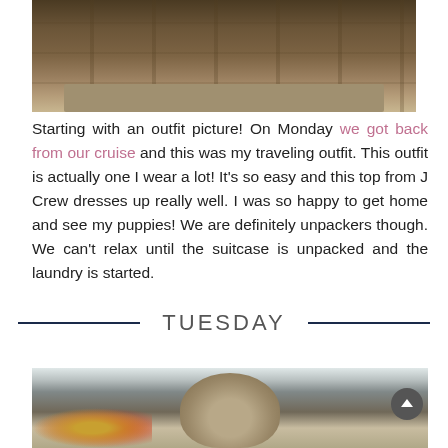[Figure (photo): Top-down view of wooden floor/stair steps with warm brown tones]
Starting with an outfit picture! On Monday we got back from our cruise and this was my traveling outfit. This outfit is actually one I wear a lot! It's so easy and this top from J Crew dresses up really well. I was so happy to get home and see my puppies! We are definitely unpackers though. We can't relax until the suitcase is unpacked and the laundry is started.
TUESDAY
[Figure (photo): A pug dog wearing a cone collar sitting outdoors with autumn leaves and blue fabric/bags visible]